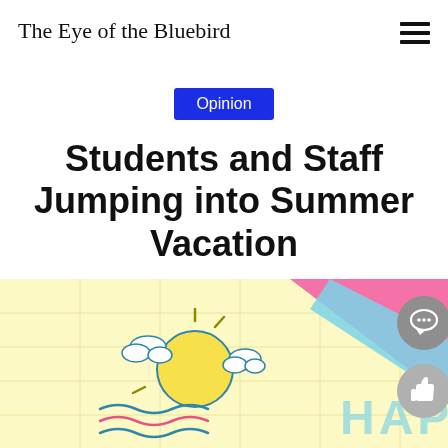The Eye of the Bluebird
Opinion
Students and Staff Jumping into Summer Vacation
[Figure (illustration): Summer vacation illustration with sun, clouds, water waves (teal/pink), a light yellow grid background, pink triangular shape, light blue diagonal stripe, and large text 'HAPPY' in light teal. Also shows a comment bubble icon button (gray circle) and a thumbs-up icon button (lighter gray circle) on the right side.]